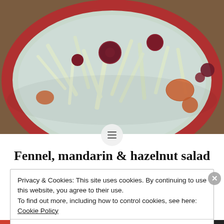[Figure (photo): Close-up photo of a fennel, mandarin and hazelnut salad on a blue plate with red rim, showing pale fennel strips, dark red cherries/cranberries, and orange mandarin segments on a wooden surface.]
Fennel, mandarin & hazelnut salad
Privacy & Cookies: This site uses cookies. By continuing to use this website, you agree to their use.
To find out more, including how to control cookies, see here: Cookie Policy
Close and accept